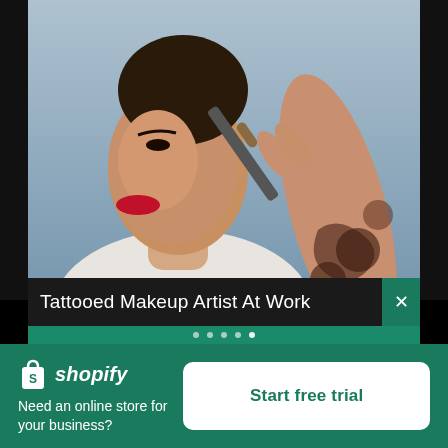[Figure (photo): A woman with red lips and hair in a bun being made up with a makeup brush by a tattooed arm holding a brush, on a blue-grey background.]
Tattooed Makeup Artist At Work
[Figure (logo): Shopify logo: white shopping bag icon with 'S' and white italic bold text 'shopify']
Need an online store for your business?
Start free trial